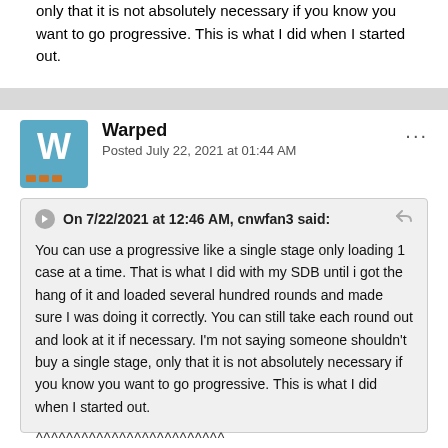only that it is not absolutely necessary if you know you want to go progressive. This is what I did when I started out.
Warped
Posted July 22, 2021 at 01:44 AM
On 7/22/2021 at 12:46 AM, cnwfan3 said:

You can use a progressive like a single stage only loading 1 case at a time. That is what I did with my SDB until i got the hang of it and loaded several hundred rounds and made sure I was doing it correctly. You can still take each round out and look at it if necessary. I'm not saying someone shouldn't buy a single stage, only that it is not absolutely necessary if you know you want to go progressive. This is what I did when I started out.
^^^^^^^^^^^^^^^^^^^^^^^^^